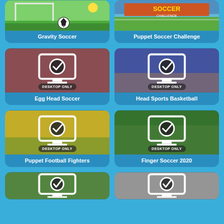[Figure (screenshot): Game thumbnail for Gravity Soccer showing soccer field with ball]
Gravity Soccer
[Figure (screenshot): Game thumbnail for Puppet Soccer Challenge with orange title text]
Puppet Soccer Challenge
[Figure (screenshot): Egg Head Soccer game card with desktop only badge and monitor icon]
Egg Head Soccer
[Figure (screenshot): Head Sports Basketball game card with desktop only badge and monitor icon]
Head Sports Basketball
[Figure (screenshot): Puppet Football Fighters game card with desktop only badge and monitor icon]
Puppet Football Fighters
[Figure (screenshot): Finger Soccer 2020 game card with desktop only badge and monitor icon]
Finger Soccer 2020
[Figure (screenshot): Partial game card bottom left with desktop monitor icon]
[Figure (screenshot): Partial game card bottom right with desktop monitor icon]